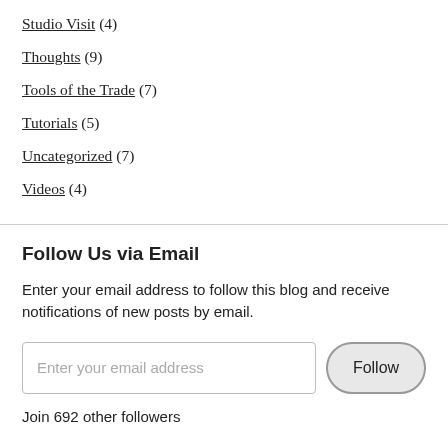Studio Visit (4)
Thoughts (9)
Tools of the Trade (7)
Tutorials (5)
Uncategorized (7)
Videos (4)
Follow Us via Email
Enter your email address to follow this blog and receive notifications of new posts by email.
Join 692 other followers